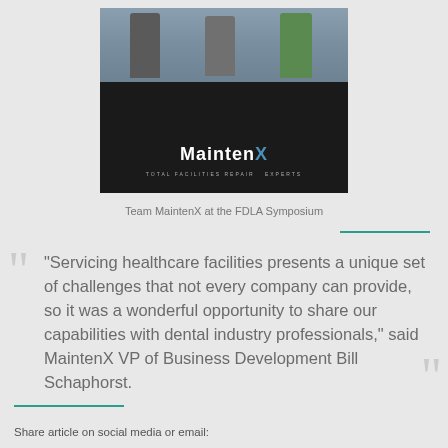[Figure (photo): Photo of three men standing behind a tradeshow booth table draped with a black MaintenX branded tablecloth reading 'MaintenX TOTAL FACILITIES REPAIR EXPERTS', at what appears to be an indoor conference or symposium.]
Team MaintenX at the FDLA Symposium
“Servicing healthcare facilities presents a unique set of challenges that not every company can provide, so it was a wonderful opportunity to share our capabilities with dental industry professionals,” said MaintenX VP of Business Development Bill Schaphorst.
Share article on social media or email: